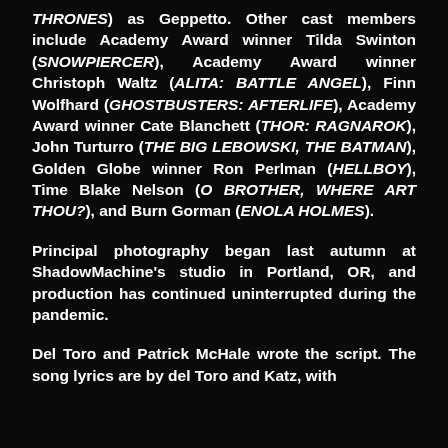THRONES) as Geppetto. Other cast members include Academy Award winner Tilda Swinton (SNOWPIERCER), Academy Award winner Christoph Waltz (ALITA: BATTLE ANGEL), Finn Wolfhard (GHOSTBUSTERS: AFTERLIFE), Academy Award winner Cate Blanchett (THOR: RAGNAROK), John Turturro (THE BIG LEBOWSKI, THE BATMAN), Golden Globe winner Ron Perlman (HELLBOY), Time Blake Nelson (O BROTHER, WHERE ART THOU?), and Burn Gorman (ENOLA HOLMES).
Principal photography began last autumn at ShadowMachine's studio in Portland, OR, and production has continued uninterrupted during the pandemic.
Del Toro and Patrick McHale wrote the script. The song lyrics are by del Toro and Katz, with